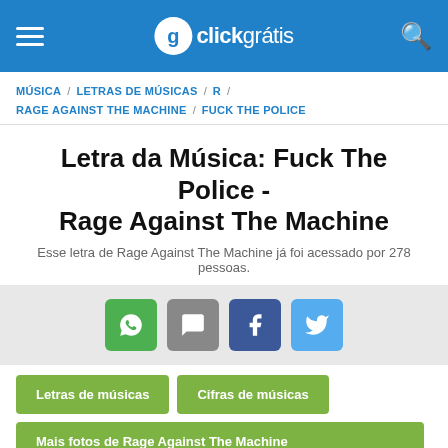clickgrátis
MÚSICA / LETRAS DE MÚSICAS / R / RAGE AGAINST THE MACHINE / FUCK THE POLICE
Letra da Música: Fuck The Police - Rage Against The Machine
Esse letra de Rage Against The Machine já foi acessado por 278 pessoas.
[Figure (infographic): Social share buttons: WhatsApp (green), Comment (gray), Facebook (blue), Twitter (light blue)]
Letras de músicas
Cifras de músicas
Mais fotos de Rage Against The Machine
A música Fuck The Police fez muito sucesso quando foi gravada por Rage Against The Machine. Que tal aprender a tocar? Veja a cifra de Fuck The Police e toque as músicas que